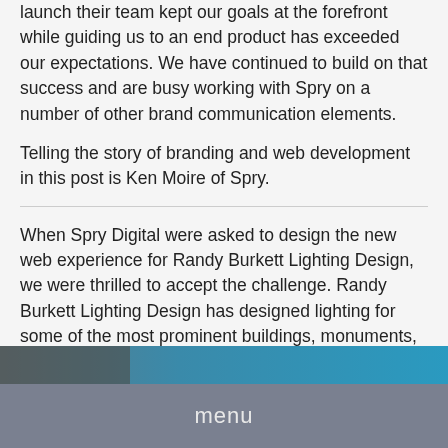launch their team kept our goals at the forefront while guiding us to an end product has exceeded our expectations. We have continued to build on that success and are busy working with Spry on a number of other brand communication elements.
Telling the story of branding and web development in this post is Ken Moire of Spry.
When Spry Digital were asked to design the new web experience for Randy Burkett Lighting Design, we were thrilled to accept the challenge. Randy Burkett Lighting Design has designed lighting for some of the most prominent buildings, monuments, landscapes and public spaces in North America.
[Figure (photo): Partial image strip visible at the bottom of the content area, appears to show a blue/teal background with some overlaid graphic elements on the left side.]
menu